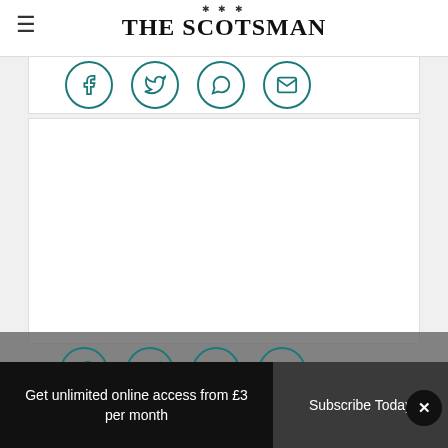THE SCOTSMAN
[Figure (illustration): Four teal social share icon circles (Facebook, Twitter, WhatsApp, Email) in a white bar]
[Figure (illustration): Large white content box (advertisement or article body area, blank)]
[Figure (illustration): Four teal social share icon circles (Facebook, Twitter, Phone/WhatsApp, Email) on grey overlay bar]
Get unlimited online access from £3 per month
Subscribe Today